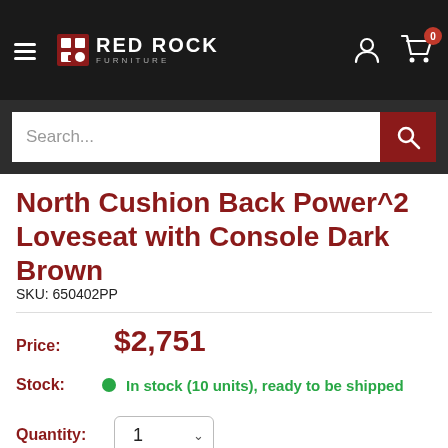[Figure (logo): Red Rock Furniture logo with hamburger menu, user icon, and cart icon on dark header]
Search...
North Cushion Back Power^2 Loveseat with Console Dark Brown
SKU: 650402PP
Price: $2,751
Stock: In stock (10 units), ready to be shipped
Quantity: 1